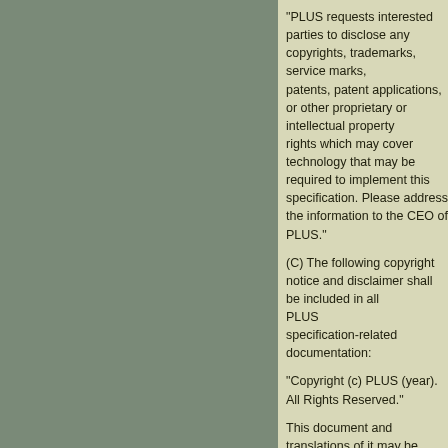"PLUS requests interested parties to disclose any copyrights, trademarks, service marks, patents, patent applications, or other proprietary or intellectual property rights which may cover technology that may be required to implement this specification. Please address the information to the CEO of PLUS."
(C) The following copyright notice and disclaimer shall be included in all PLUS specification-related documentation:
"Copyright (c) PLUS (year). All Rights Reserved."
This document and translations of it may be copied and furnished to others, and derivative works that comment on or otherwise explain it or assist in its implementation may be prepared, copied, published, and distributed, in whole or in part, without restriction of any kind, provided that above copyright notice and this paragraph are included on all such copies and derivative works. However, this document itself may not be modified in any way, such as by removing the copyright notice or reference to PLUS, except as needed for the purpose of developing PLUS specifications, in which case the procedures for copyrights defined in the PLUS Intellectual Property Policy document must be followed, or as required to translate it into languages other than English.
The limited permissions granted above are perpetual and will not be revoked by PLUS or its successors or assigns.